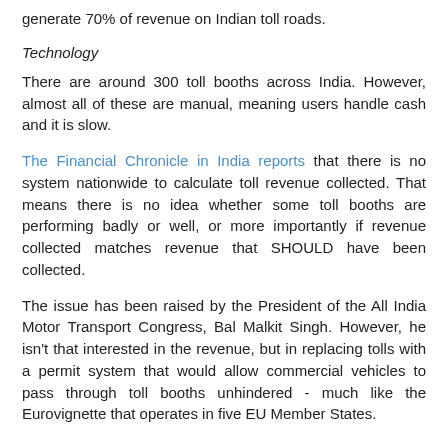generate 70% of revenue on Indian toll roads.
Technology
There are around 300 toll booths across India. However, almost all of these are manual, meaning users handle cash and it is slow.
The Financial Chronicle in India reports that there is no system nationwide to calculate toll revenue collected. That means there is no idea whether some toll booths are performing badly or well, or more importantly if revenue collected matches revenue that SHOULD have been collected.
The issue has been raised by the President of the All India Motor Transport Congress, Bal Malkit Singh. However, he isn't that interested in the revenue, but in replacing tolls with a permit system that would allow commercial vehicles to pass through toll booths unhindered - much like the Eurovignette that operates in five EU Member States.